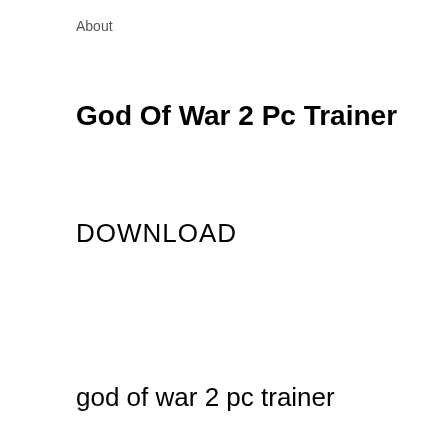About
God Of War 2 Pc Trainer
DOWNLOAD
god of war 2 pc trainer